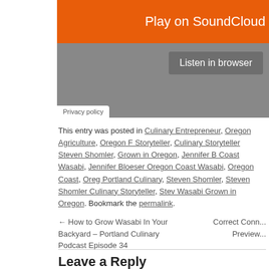[Figure (screenshot): SoundCloud embedded player widget showing orange header bar with 'Play on SoundCloud' text, a gray body area with 'Listen in browser' button, and a Privacy policy link at bottom left.]
This entry was posted in Culinary Entrepreneur, Oregon Agriculture, Oregon Food Storyteller, Culinary Storyteller Steven Shomler, Grown in Oregon, Jennifer Bloeser Oregon Coast Wasabi, Jennifer Bloeser Oregon Coast Wasabi, Oregon Coast, Oregon Portland Culinary, Steven Shomler, Steven Shomler Culinary Storyteller, Steven Wasabi Grown in Oregon. Bookmark the permalink.
← How to Grow Wasabi In Your Backyard – Portland Culinary Podcast Episode 34
Correct Conn... Preview...
Leave a Reply